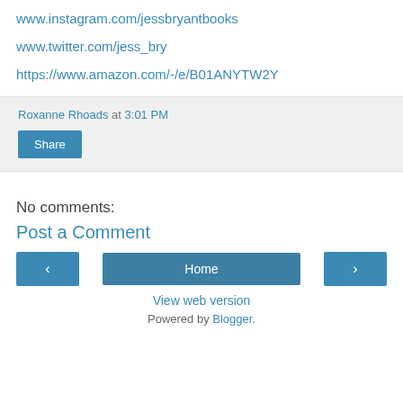www.instagram.com/jessbryantbooks
www.twitter.com/jess_bry
https://www.amazon.com/-/e/B01ANYTW2Y
Roxanne Rhoads at 3:01 PM
Share
No comments:
Post a Comment
‹
Home
›
View web version
Powered by Blogger.